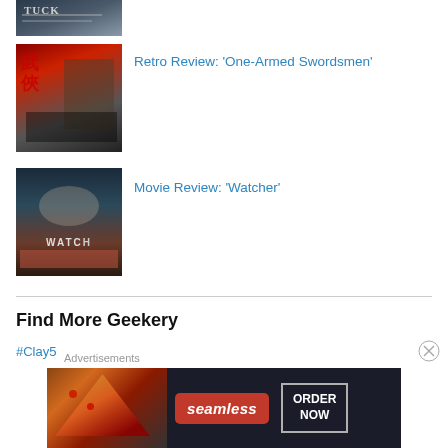[Figure (photo): Partially visible book/movie cover thumbnail at top, cropped]
[Figure (photo): Movie poster thumbnail for 'One-Armed Swordsmen' with Chinese martial arts imagery]
Retro Review: 'One-Armed Swordsmen'
[Figure (photo): Movie poster thumbnail for 'Watcher' showing a woman and the word WATCH]
Movie Review: 'Watcher'
Find More Geekery
#Clay5
Advertisements
[Figure (photo): Seamless food delivery advertisement banner with pizza image, Seamless logo, and ORDER NOW button]